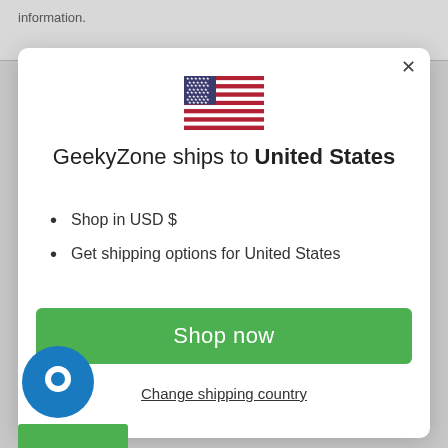information.
[Figure (screenshot): Modal dialog: US flag, shipping info for United States, Shop now button, Change shipping country link]
GeekyZone ships to United States
Shop in USD $
Get shipping options for United States
Shop now
Change shipping country